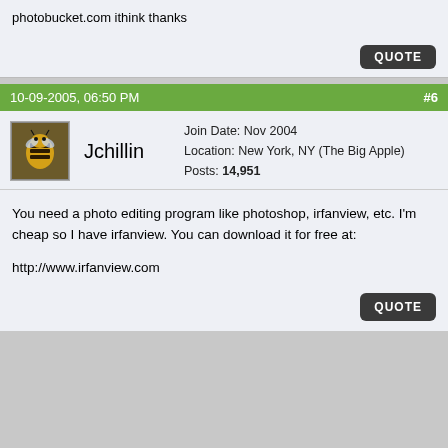photobucket.com ithink thanks
QUOTE
10-09-2005, 06:50 PM   #6
Jchillin  Join Date: Nov 2004  Location: New York, NY (The Big Apple)  Posts: 14,951
You need a photo editing program like photoshop, irfanview, etc. I'm cheap so I have irfanview. You can download it for free at:

http://www.irfanview.com
QUOTE